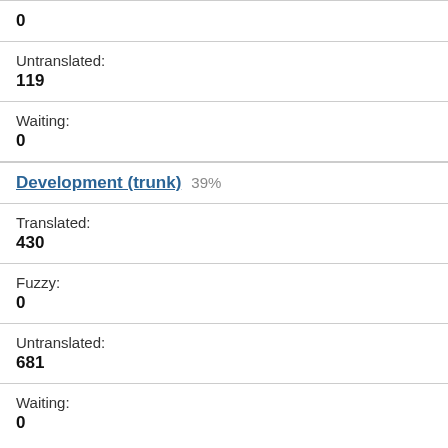| 0 |
| Untranslated: | 119 |
| Waiting: | 0 |
| Development (trunk) 39% |
| Translated: | 430 |
| Fuzzy: | 0 |
| Untranslated: | 681 |
| Waiting: | 0 |